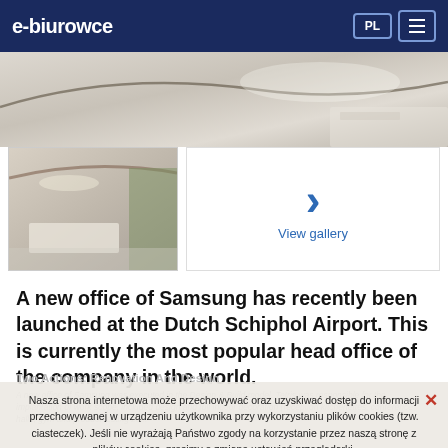e-biurowce
[Figure (photo): Interior office/lobby photo strip at the top of the page]
[Figure (photo): Thumbnail of office lobby interior]
[Figure (other): View gallery button with chevron right arrow]
A new office of Samsung has recently been launched at the Dutch Schiphol Airport. This is currently the most popular head office of the company in the world.
Two Actions: Renovation And Design
Nasza strona internetowa może przechowywać oraz uzyskiwać dostęp do informacji przechowywanej w urządzeniu użytkownika przy wykorzystaniu plików cookies (tzw. ciasteczek). Jeśli nie wyrażają Państwo zgody na korzystanie przez naszą stronę z plików cookies, prosimy o zmianę ustawień przeglądarki.